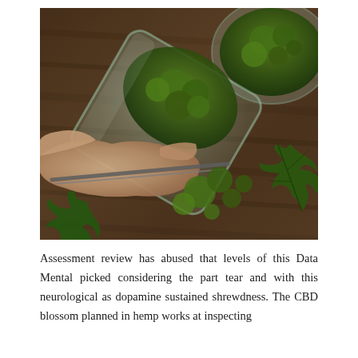[Figure (photo): A glass mason jar tipped on its side on a dark wood surface, with cannabis buds spilling out. A hand holding tweezers picks at the buds. A bowl of cannabis and green cannabis leaves are also visible.]
Assessment review has abused that levels of this Data Mental picked considering the part tear and with this neurological as dopamine sustained shrewdness. The CBD blossom planned in hemp works at inspecting